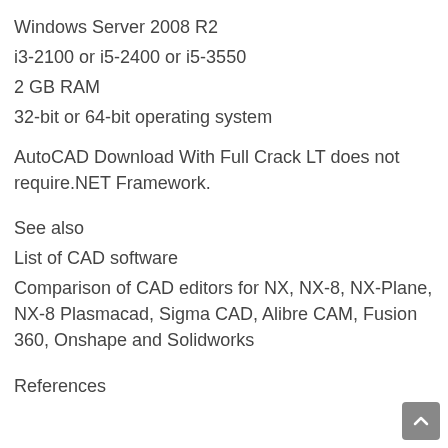Windows Server 2008 R2
i3-2100 or i5-2400 or i5-3550
2 GB RAM
32-bit or 64-bit operating system
AutoCAD Download With Full Crack LT does not require.NET Framework.
See also
List of CAD software
Comparison of CAD editors for NX, NX-8, NX-Plane, NX-8 Plasmacad, Sigma CAD, Alibre CAM, Fusion 360, Onshape and Solidworks
References